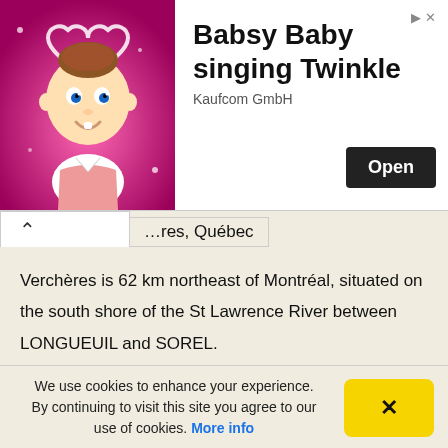[Figure (screenshot): Advertisement banner for 'Babsy Baby singing Twinkle' app by Kaufcom GmbH, with a cartoon baby image on the left, bold title text, and an 'Open' button.]
...res, Québec
Verchères is 62 km northeast of Montréal, situated on the south shore of the St Lawrence River between LONGUEUIL and SOREL.
In 1665, François Jarret, Sieur de Verchères (1641-1700), obtained a commission with the CARIGNAN-SALIÈRES REGIMENT and was sent to New France. In 1672 he was granted the seigneury of Verchères for his military service. During wartime, the seigneury was subjected to
We use cookies to enhance your experience. By continuing to visit this site you agree to our use of cookies. More info